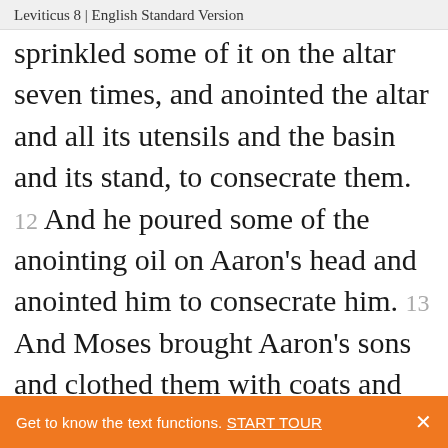Leviticus 8 | English Standard Version
sprinkled some of it on the altar seven times, and anointed the altar and all its utensils and the basin and its stand, to consecrate them. 12 And he poured some of the anointing oil on Aaron’s head and anointed him to consecrate him. 13 And Moses brought Aaron’s sons and clothed them with coats and tied sashes around their waists and bound caps on them, as the Lord commanded Moses. 14 Then he
Get to know the text functions. START TOUR